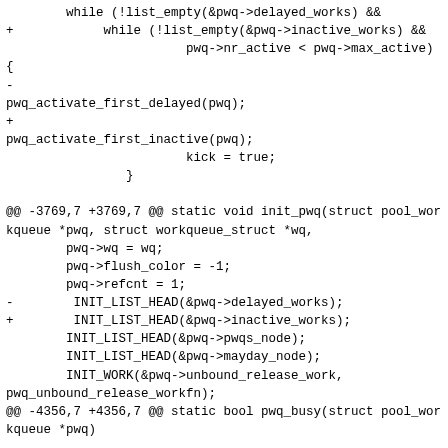Code diff showing changes from delayed_works to inactive_works in Linux kernel workqueue implementation, including init_pwq and pwq_busy functions.